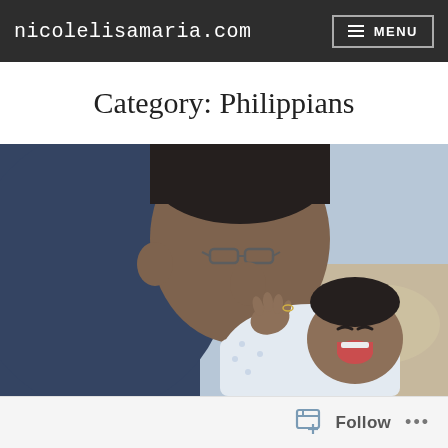nicolelisamaria.com   ≡ MENU
Category: Philippians
[Figure (photo): A man wearing glasses leaning down and nuzzling a laughing baby, outdoors at a beach or sandy area. The man wears a dark blue top and the baby wears a white shirt.]
Follow ...